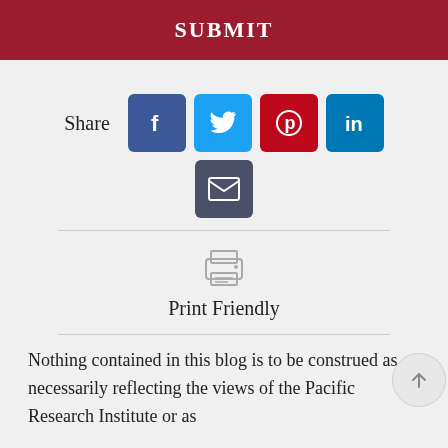SUBMIT
Share
[Figure (infographic): Social share icons: Facebook (blue), Twitter (light blue), Pinterest (red), LinkedIn (dark blue), Email (dark slate)]
[Figure (illustration): Printer icon for Print Friendly button]
Print Friendly
Nothing contained in this blog is to be construed as necessarily reflecting the views of the Pacific Research Institute or as